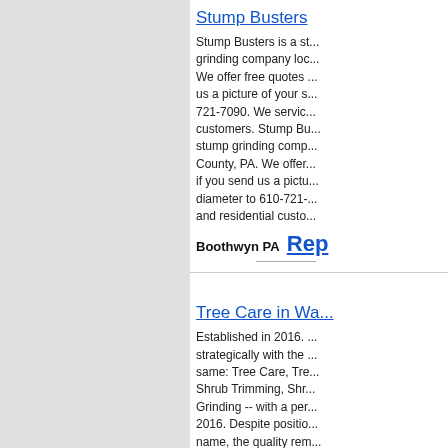Stump Busters
Stump Busters is a st... grinding company loc... We offer free quotes ... us a picture of your s... 721-7090. We servic... customers. Stump Bu... stump grinding comp... County, PA. We offer... if you send us a pictu... diameter to 610-721-... and residential custo...
Boothwyn PA  Rep...
Tree Care in Wa...
Established in 2016. ... strategically with the ... same: Tree Care, Tre... Shrub Trimming, Shr... Grinding -- with a per... 2016. Despite positio... name, the quality rem... Tree Removal, Tree T... Shrub Removal, and ... personal touch!
Warren MI  Repo...
Cebu Seat Leas...